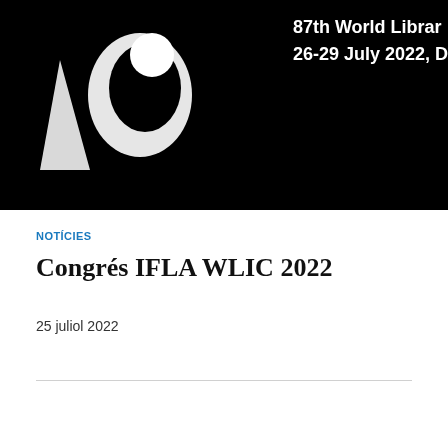[Figure (photo): Black banner with IFLA WLIC 2022 logo on the left (white geometric shapes on black background) and white text on the right reading '87th World Librar' and '26-29 July 2022, D']
NOTÍCIES
Congrés IFLA WLIC 2022
25 juliol 2022